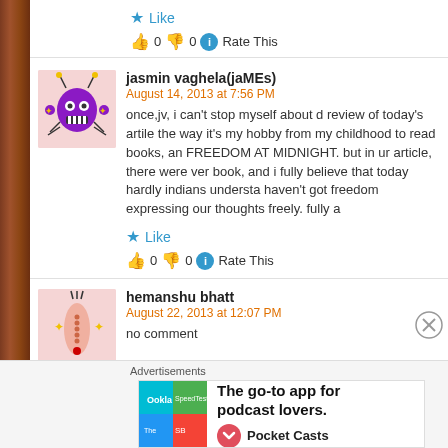Like
0  0  Rate This
jasmin vaghela(jaMEs)
August 14, 2013 at 7:56 PM
once,jv, i can't stop myself about d review of today's artile the way it's my hobby from my childhood to read books, an FREEDOM AT MIDNIGHT. but in ur article, there were ver book, and i fully believe that today hardly indians understa haven't got freedom expressing our thoughts freely. fully a
Like
0  0  Rate This
hemanshu bhatt
August 22, 2013 at 12:07 PM
no comment
Advertisements
The go-to app for podcast lovers.
Pocket Casts